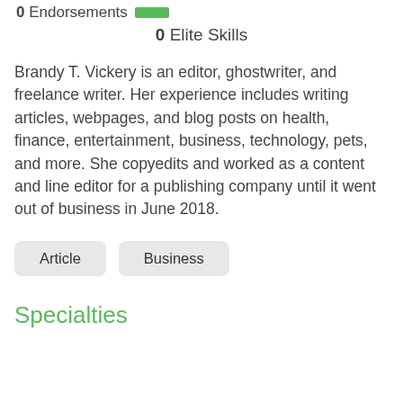0 Endorsements  0 Elite Skills
Brandy T. Vickery is an editor, ghostwriter, and freelance writer. Her experience includes writing articles, webpages, and blog posts on health, finance, entertainment, business, technology, pets, and more. She copyedits and worked as a content and line editor for a publishing company until it went out of business in June 2018.
Article
Business
Specialties